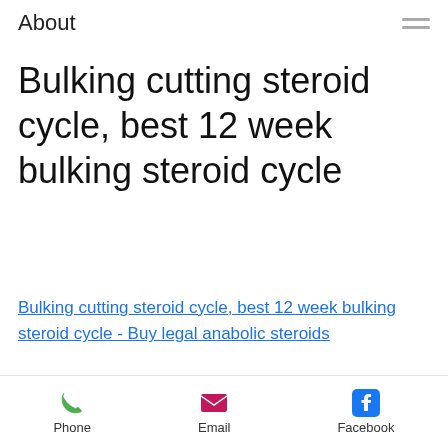About
Bulking cutting steroid cycle, best 12 week bulking steroid cycle
Bulking cutting steroid cycle, best 12 week bulking steroid cycle - Buy legal anabolic steroids
[Figure (photo): Dark blurred image of a person, likely a bodybuilder, against a dark background]
Phone   Email   Facebook